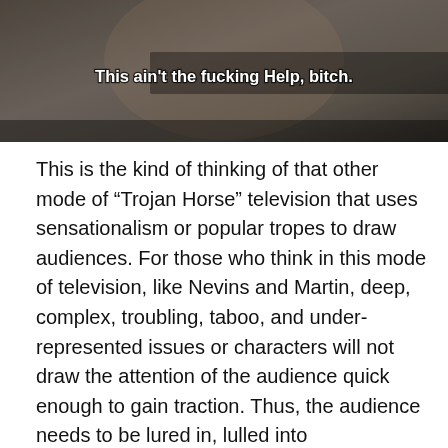[Figure (screenshot): A dark photographic image showing a person's face partially visible, with white bold subtitle text overlaid reading: This ain't the fucking Help, bitch.]
This is the kind of thinking of that other mode of “Trojan Horse” television that uses sensationalism or popular tropes to draw audiences. For those who think in this mode of television, like Nevins and Martin, deep, complex, troubling, taboo, and under-represented issues or characters will not draw the attention of the audience quick enough to gain traction. Thus, the audience needs to be lured in, lulled into complacency, then basically tricked into engaging. When Rosenberg calls for television (read: producers, executives, and other cultural gatekeepers) to learn the lessons of both modes of Trojan Horse television, the audience is barely a factor.  Which brings me back to why I must disagree with the idea that genre